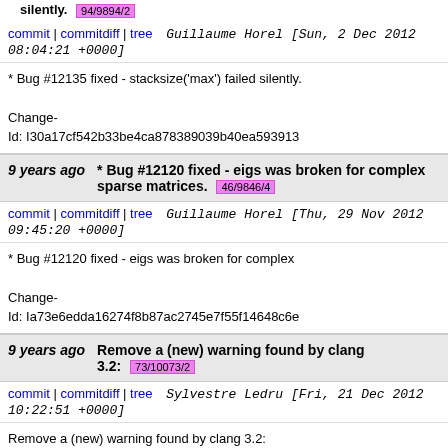silently. 94/9894/2
commit | commitdiff | tree   Guillaume Horel [Sun, 2 Dec 2012 08:04:21 +0000]
* Bug #12135 fixed - stacksize('max') failed silently.

Change-Id: I30a17cf542b33be4ca878389039b40ea593913
9 years ago   * Bug #12120 fixed - eigs was broken for complex sparse matrices. 46/9846/4
commit | commitdiff | tree   Guillaume Horel [Thu, 29 Nov 2012 09:45:20 +0000]
* Bug #12120 fixed - eigs was broken for complex

Change-Id: Ia73e6edda16274f8b87ac2745e7f55f14648c6e
9 years ago   Remove a (new) warning found by clang 3.2: 73/10073/2
commit | commitdiff | tree   Sylvestre Ledru [Fri, 21 Dec 2012 10:22:51 +0000]
Remove a (new) warning found by clang 3.2:
src/c/Format.c:1157:14: warning: variable 'ticksSty
Wsometimes-uninitialized]